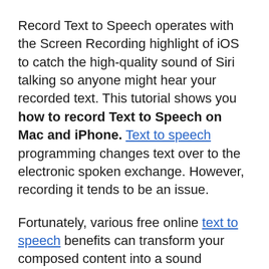Record Text to Speech operates with the Screen Recording highlight of iOS to catch the high-quality sound of Siri talking so anyone might hear your recorded text. This tutorial shows you how to record Text to Speech on Mac and iPhone. Text to speech programming changes text over to the electronic spoken exchange. However, recording it tends to be an issue.
Fortunately, various free online text to speech benefits can transform your composed content into a sound document that you can download straightforwardly. However, if you require more prominent Text to Speech (TTS) customization, you'll need to utilize a more expert TTS program. Follow